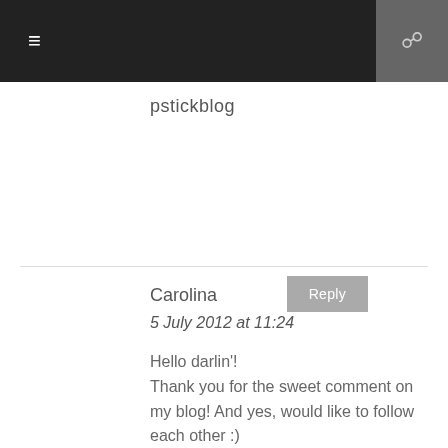≡  [search icon]
pstickblog
Reply
Carolina
5 July 2012 at 11:24
Hello darlin'!
Thank you for the sweet comment on my blog! And yes, would like to follow each other :)
Let me know <3
Xoxoxo